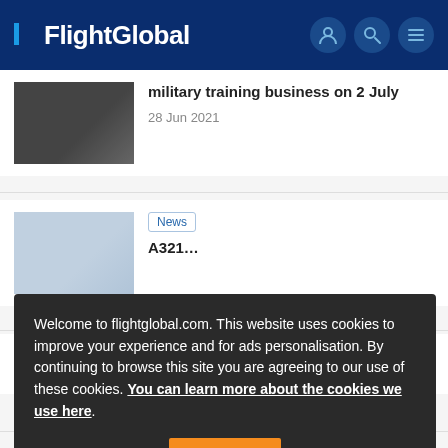FlightGlobal
military training business on 2 July
28 Jun 2021
News
Welcome to flightglobal.com. This website uses cookies to improve your experience and for ads personalisation. By continuing to browse this site you are agreeing to our use of these cookies. You can learn more about the cookies we use here.
OK